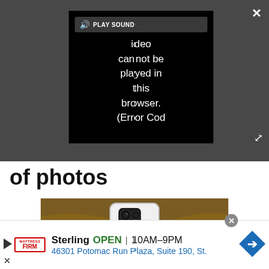[Figure (screenshot): Video player overlay on dark gray background showing a black video frame with 'PLAY SOUND' button and error message: 'Video cannot be played in this browser. (Error Cod' with a close X button top right and expand arrows bottom right.]
of photos
[Figure (photo): A hand holding a white smartphone (Google Pixel 4 or similar) showing the back with a square camera module, held up against a textured brown wood/bark background.]
[Figure (screenshot): Advertisement banner for Mattress Firm Sterling location. Shows Mattress Firm logo, 'Sterling OPEN 10AM-9PM 46301 Potomac Run Plaza, Suite 190, St.' with a blue navigation arrow icon.]